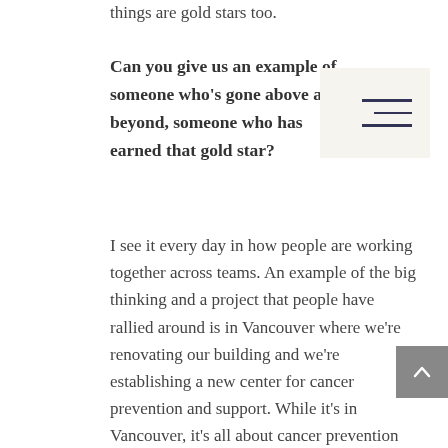things are gold stars too.
Can you give us an example of someone who's gone above and beyond, someone who has earned that gold star?
I see it every day in how people are working together across teams. An example of the big thinking and a project that people have rallied around is in Vancouver where we're renovating our building and we're establishing a new center for cancer prevention and support. While it's in Vancouver, it's all about cancer prevention which means that teams from across the country have an interest in it. They're contributing to the plan for the center and to the research strategy. Our head of research who's in Toronto has been creating collaborative partnerships that are going to fund